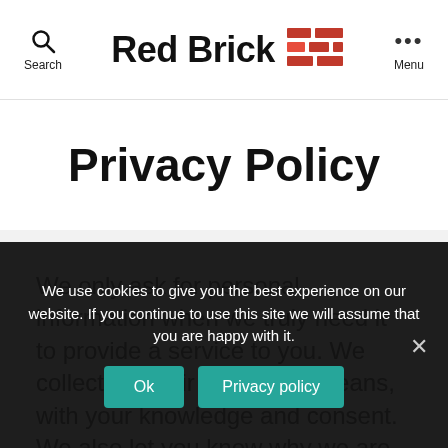Search  Red Brick  Menu
Privacy Policy
We only ask for personal information when we truly need it to provide a service to you. We collect it by fair and lawful means, with your knowledge and consent. We also let you know why we are collecting it and how it will be used.
We use cookies to give you the best experience on our website. If you continue to use this site we will assume that you are happy with it.